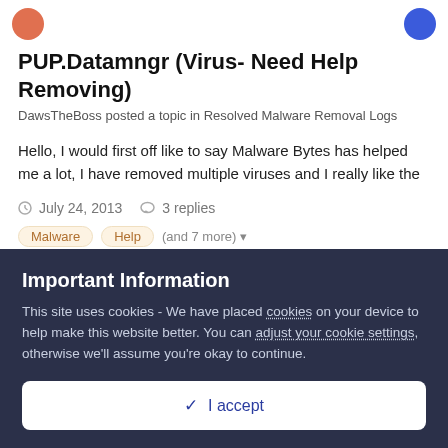PUP.Datamngr (Virus- Need Help Removing)
DawsTheBoss posted a topic in Resolved Malware Removal Logs
Hello, I would first off like to say Malware Bytes has helped me a lot, I have removed multiple viruses and I really like the
July 24, 2013   3 replies
Malware   Help   (and 7 more)
Important Information
This site uses cookies - We have placed cookies on your device to help make this website better. You can adjust your cookie settings, otherwise we'll assume you're okay to continue.
✓ I accept